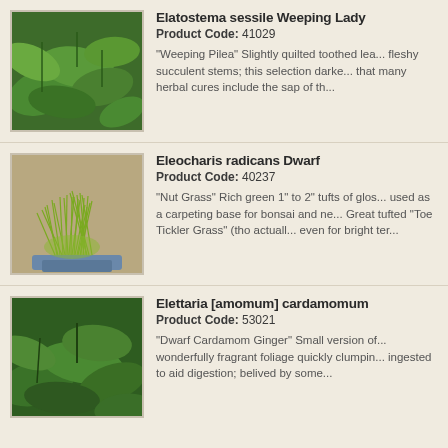[Figure (photo): Close-up photo of Elatostema sessile Weeping Lady plant with quilted toothed green leaves]
Elatostema sessile Weeping Lady
Product Code: 41029
"Weeping Pilea" Slightly quilted toothed lea... fleshy succulent stems; this selection darke... that many herbal cures include the sap of th...
[Figure (photo): Photo of Eleocharis radicans Dwarf plant, green spiky grass-like tufts growing in a small blue pot]
Eleocharis radicans Dwarf
Product Code: 40237
"Nut Grass" Rich green 1" to 2" tufts of glos... used as a carpeting base for bonsai and ne... Great tufted "Toe Tickler Grass" (tho actuall... even for bright ter...
[Figure (photo): Photo of Elettaria [amomum] cardamomum plant with large green leaves]
Elettaria [amomum] cardamomum
Product Code: 53021
"Dwarf Cardamom Ginger" Small version of... wonderfully fragrant foliage quickly clumpin... ingested to aid digestion; belived by some...